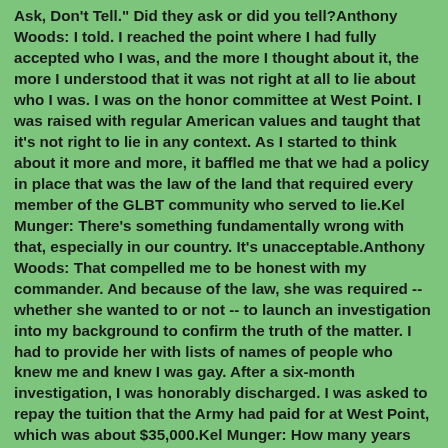Ask, Don't Tell." Did they ask or did you tell?Anthony Woods: I told. I reached the point where I had fully accepted who I was, and the more I thought about it, the more I understood that it was not right at all to lie about who I was. I was on the honor committee at West Point. I was raised with regular American values and taught that it's not right to lie in any context. As I started to think about it more and more, it baffled me that we had a policy in place that was the law of the land that required every member of the GLBT community who served to lie.Kel Munger: There's something fundamentally wrong with that, especially in our country. It's unacceptable.Anthony Woods: That compelled me to be honest with my commander. And because of the law, she was required -- whether she wanted to or not -- to launch an investigation into my background to confirm the truth of the matter. I had to provide her with lists of names of people who knew me and knew I was gay. After a six-month investigation, I was honorably discharged. I was asked to repay the tuition that the Army had paid for at West Point, which was about $35,000.Kel Munger: How many years had you given the military? You'd already done two tours in Iraq, right?Anthony Woods: When I was discharged, I'd served just a little over five years. After